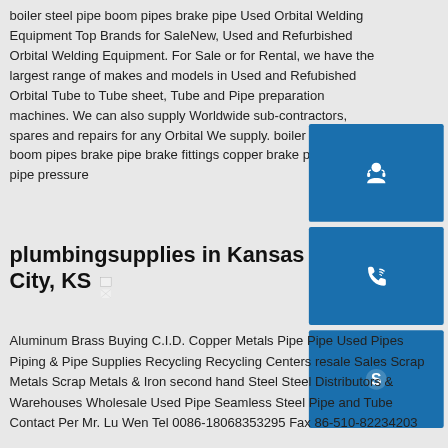boiler steel pipe boom pipes brake pipe Used Orbital Welding Equipment Top Brands for SaleNew, Used and Refurbished Orbital Welding Equipment. For Sale or for Rental, we have the largest range of makes and models in Used and Refubished Orbital Tube to Tube sheet, Tube and Pipe preparation machines. We can also supply Worldwide sub-contractors, spares and repairs for any Orbital We supply. boiler steel pipe boom pipes brake pipe brake fittings copper brake pipe brake pipe pressure
[Figure (illustration): Blue square icon with white customer support / headset person silhouette]
[Figure (illustration): Blue square icon with white phone/call icon]
[Figure (illustration): Blue square icon with white Skype logo]
plumbingsupplies in Kansas City, KS
Aluminum Brass Buying C.I.D. Copper Metals Pipe Pipe Used Pipes Piping & Pipe Supplies Recycling Recycling Centers resale Sales Scrap Metals Scrap Metals & Iron second hand Steel Steel Distributors & Warehouses Wholesale Used Pipe Seamless Steel Pipe and Tube Contact Per Mr. Lu Wen Tel 0086-18068353295 Fax 86-510-82234203